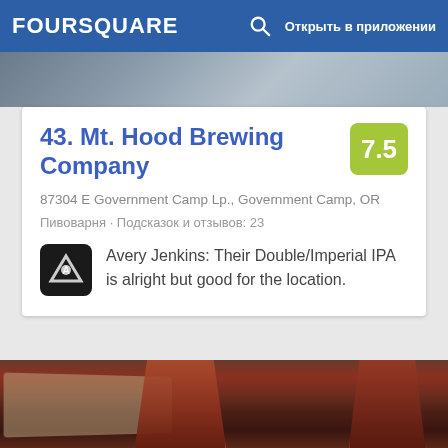FOURSQUARE  Открыть в приложении
43. Mt. Hood Brewing Company
87304 E Government Camp Lp., Government Camp, OR
Пивоварня · Подсказок и отзывов: 23
Avery Jenkins: Their Double/Imperial IPA is alright but good for the location.
[Figure (photo): Photo of beer glasses filled with amber/red beer on a table with a menu, taken at Mt. Hood Brewing Company]